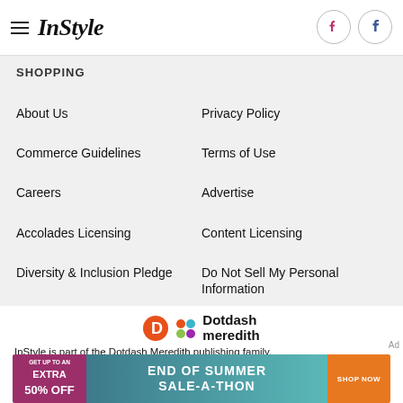InStyle
SHOPPING
About Us
Privacy Policy
Commerce Guidelines
Terms of Use
Careers
Advertise
Accolades Licensing
Content Licensing
Diversity & Inclusion Pledge
Do Not Sell My Personal Information
[Figure (logo): Dotdash Meredith logo]
InStyle is part of the Dotdash Meredith publishing family.
[Figure (infographic): End of Summer Sale-a-thon advertisement banner: Get up to an extra 50% off. Shop Now button.]